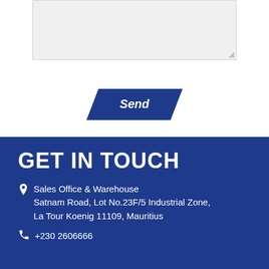[Figure (screenshot): Grey textarea input box with resize handle in bottom right corner]
[Figure (other): Dark blue parallelogram/skewed button with italic text 'Send' in white]
GET IN TOUCH
Sales Office & Warehouse Satnam Road, Lot No.23F/5 Industrial Zone, La Tour Koenig 11109, Mauritius
+230 2606666